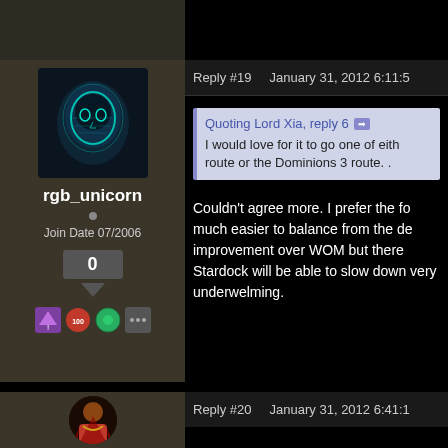Reply #19    January 31, 2012 6:11:5
[Figure (photo): Avatar of user rgb_unicorn: a glowing teal digital mask on dark background]
rgb_unicorn
Join Date 07/2006
0
Quoting Lord Xia, reply 6
I would love for it to go one of eith route or the Dominions 3 route. .
Couldn't agree more. I prefer the fo much easier to balance from the de improvement over WOM but there Stardock will be able to slow down very underwelming.
Reply #20    January 31, 2012 6:41:1
[Figure (photo): Avatar of second user: a warrior figure with cape on dark background]